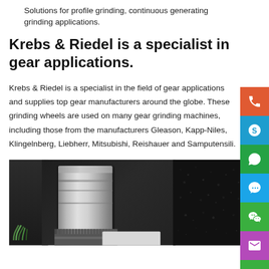Solutions for profile grinding, continuous generating grinding applications.
Krebs & Riedel is a specialist in gear applications.
Krebs & Riedel is a specialist in the field of gear applications and supplies top gear manufacturers around the globe. These grinding wheels are used on many gear grinding machines, including those from the manufacturers Gleason, Kapp-Niles, Klingelnberg, Liebherr, Mitsubishi, Reishauer and Samputensili.
[Figure (photo): Close-up photo of a gear grinding machine showing metal cylindrical components, gear parts, and machine tooling in dark industrial setting]